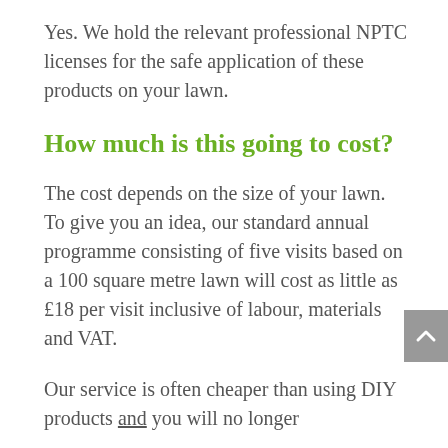Yes. We hold the relevant professional NPTC licenses for the safe application of these products on your lawn.
How much is this going to cost?
The cost depends on the size of your lawn. To give you an idea, our standard annual programme consisting of five visits based on a 100 square metre lawn will cost as little as £18 per visit inclusive of labour, materials and VAT.
Our service is often cheaper than using DIY products and you will no longer